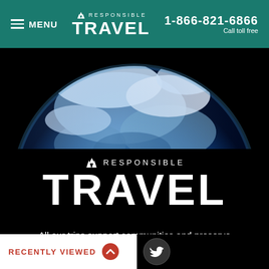MENU | RESPONSIBLE TRAVEL | 1-866-821-6866 Call toll free
[Figure (photo): Earth globe photograph showing blue and white view from space, cropped to upper portion]
[Figure (logo): Responsible Travel logo with tree icons and large TRAVEL text in white on black background]
All our trips support communities and preserve nature - which helps you get closer to both.
Pioneering responsible vacations since 2001
[Figure (infographic): Facebook and Twitter social media icons in white circles on black background]
RECENTLY VIEWED